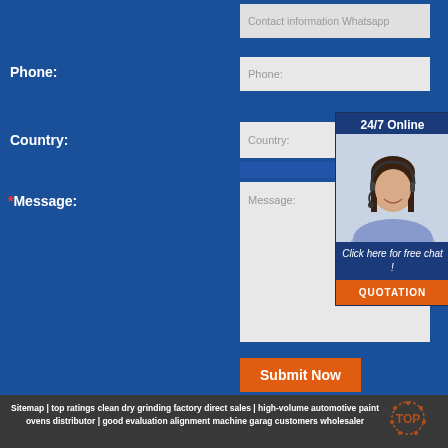Contact information Whatsapp
Phone:
Phone:
Country:
Country:
*Message:
Message:
24/7 Online
Click here for free chat !
QUOTATION
Submit Now
Sitemap | top ratings clean dry grinding factory direct sales | high-volume automotive paint ovens distributor | good evaluation alignment machine garag customers wholesaler